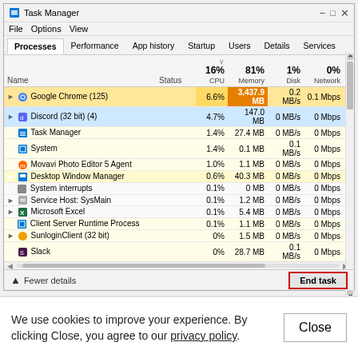[Figure (screenshot): Windows Task Manager screenshot showing process list with CPU 16%, Memory 81%, Disk 1%, Network 0%. Processes include Google Chrome (125), Discord (32 bit)(4), Task Manager, System, Movavi Photo Editor 5 Agent, Desktop Window Manager, System interrupts, Service Host: SysMain, Microsoft Excel, Client Server Runtime Process, SunloginClient (32 bit), Slack, Windows Explorer, VMware Authorization Service, Antimalware Service Executable. End task button highlighted with red border.]
We use cookies to improve your experience. By clicking Close, you agree to our privacy policy.